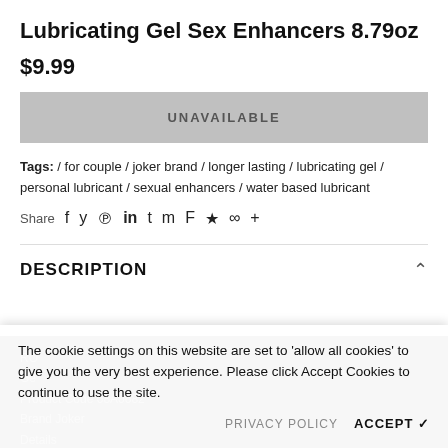Lubricating Gel Sex Enhancers 8.79oz
$9.99
UNAVAILABLE
Tags: / for couple / joker brand / longer lasting / lubricating gel / personal lubricant / sexual enhancers / water based lubricant
Share  f  y  P  in  t  m  F  ★  ∞  +
DESCRIPTION
RO... Ge... Product Code 08A0682 Brand Joker Details
The cookie settings on this website are set to 'allow all cookies' to give you the very best experience. Please click Accept Cookies to continue to use the site.
PRIVACY POLICY  ACCEPT ✓